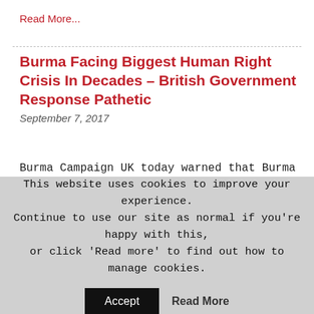Read More...
Burma Facing Biggest Human Right Crisis In Decades – British Government Response Pathetic
September 7, 2017
Burma Campaign UK today warned that Burma is undergoing its biggest human rights crisis in decades, which has in turn created a major humanitarian crisis. However, unlike in the past, there has been virtually no corresponding international response. In just...
This website uses cookies to improve your experience. Continue to use our site as normal if you're happy with this, or click 'Read more' to find out how to manage cookies.
Accept
Read More